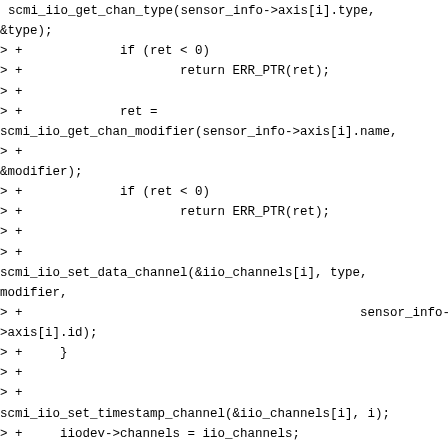scmi_iio_get_chan_type(sensor_info->axis[i].type, &type);
> +             if (ret < 0)
> +                     return ERR_PTR(ret);
> +
> +             ret =
scmi_iio_get_chan_modifier(sensor_info->axis[i].name,
> +
&modifier);
> +             if (ret < 0)
> +                     return ERR_PTR(ret);
> +
> +
scmi_iio_set_data_channel(&iio_channels[i], type, modifier,
> +                                             sensor_info->axis[i].id);
> +     }
> +
> +
scmi_iio_set_timestamp_channel(&iio_channels[i], i);
> +     iiodev->channels = iio_channels;
> +     return iiodev;
> +}
> +
> +static int scmi_iio_dev_probe(struct scmi_device *sdev)
> +{
> +     const struct scmi_sensor_info *sensor_info;
> +     struct scmi_handle *handle = sdev->handle;